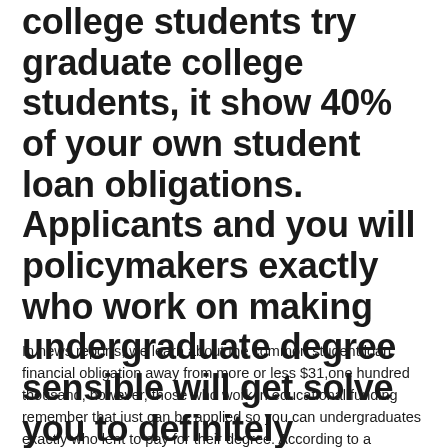college students try graduate college students, it show 40% of your own student loan obligations. Applicants and you will policymakers exactly who work on making undergraduate degree sensible will get solve you to definitely disease, nevertheless almost all education loan obligations – and you may troubles it generates – will stay.
In news reports, we learn about the common student loan financial obligation away from more or less $31,one hundred thousand, however, those who work in educational funding remember that just can be applied so you can undergraduates exactly who lent to pay for their degree. According to a diagnosis away from Federal College student Help analytics inside a great Cardiovascular